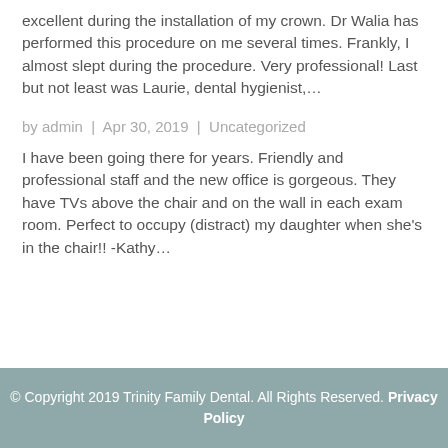excellent during the installation of my crown. Dr Walia has performed this procedure on me several times. Frankly, I almost slept during the procedure. Very professional! Last but not least was Laurie, dental hygienist,…
by admin | Apr 30, 2019 | Uncategorized
I have been going there for years. Friendly and professional staff and the new office is gorgeous. They have TVs above the chair and on the wall in each exam room. Perfect to occupy (distract) my daughter when she's in the chair!! -Kathy…
© Copyright 2019 Trinity Family Dental. All Rights Reserved. Privacy Policy